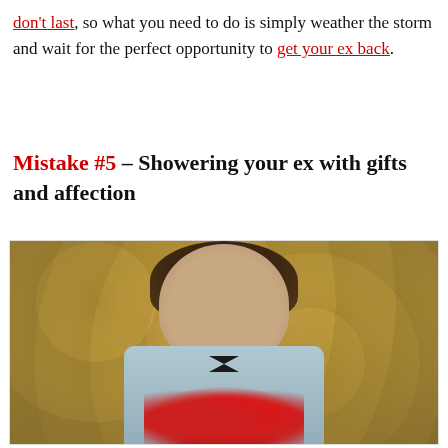don't last, so what you need to do is simply weather the storm and wait for the perfect opportunity to get your ex back.
Mistake #5 – Showering your ex with gifts and affection
[Figure (photo): A young man with curly brown hair and glasses wearing a light blue jacket and bow tie, holding red tulips, photographed against a gold/olive patterned wallpaper background.]